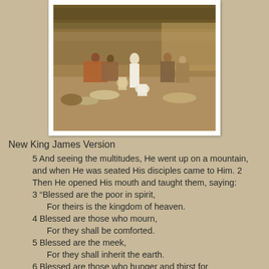[Figure (illustration): A classical painting depicting a crowd scene in what appears to be an ancient Roman or biblical setting, with figures in robes, some kneeling or prostrate on the ground, and a central standing figure in white.]
New King James Version
5 And seeing the multitudes, He went up on a mountain, and when He was seated His disciples came to Him. 2 Then He opened His mouth and taught them, saying:
3 “Blessed are the poor in spirit,
    For theirs is the kingdom of heaven.
4 Blessed are those who mourn,
    For they shall be comforted.
5 Blessed are the meek,
    For they shall inherit the earth.
6 Blessed are those who hunger and thirst for righteousness,
    For they shall be filled.